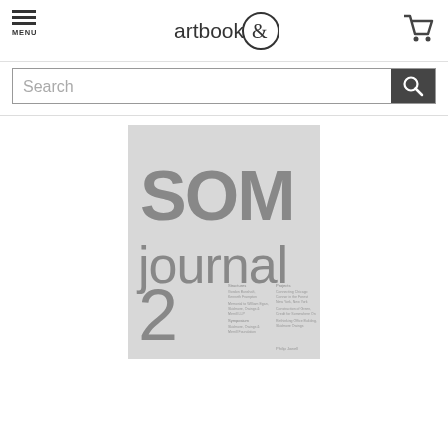MENU | artbook& | cart
Search
[Figure (photo): Book cover of SOM journal 2, showing large grey text 'SOM journal 2' on a light grey background with a table of contents listed in small text below]